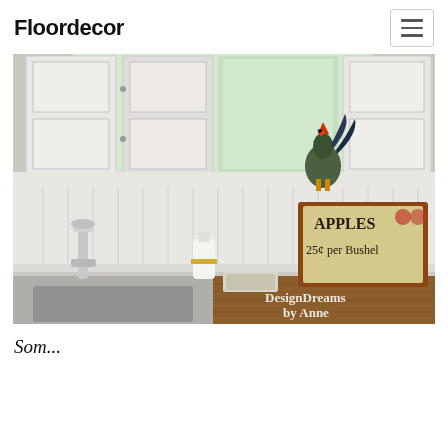Floordecor
[Figure (photo): Kitchen scene with white beadboard backsplash, a chrome faucet, a rooster figurine on the windowsill, white-painted wood shutters, a soap dispenser with yellow ribbon, a small tray with items, and a vintage 'Apples 25¢ per Bushel' sign on a butcher block countertop. Watermark reads 'DesignDreams by Anne'.]
Som...